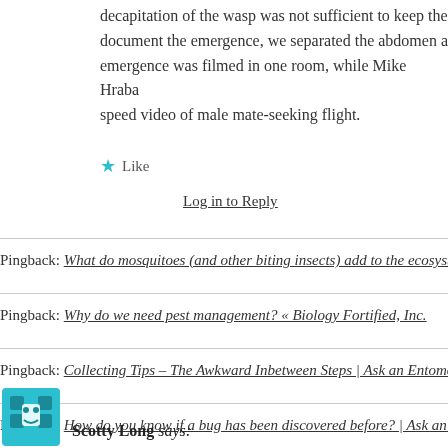decapitation of the wasp was not sufficient to keep the document the emergence, we separated the abdomen a emergence was filmed in one room, while Mike Hraba speed video of male mate-seeking flight.
★ Like
Log in to Reply
Pingback: What do mosquitoes (and other biting insects) add to the ecosystem
Pingback: Why do we need pest management? « Biology Fortified, Inc.
Pingback: Collecting Tips – The Awkward Inbetween Steps | Ask an Entomolog
Pingback: How do you know if a bug has been discovered before? | Ask an Ent
Scotty Long says: